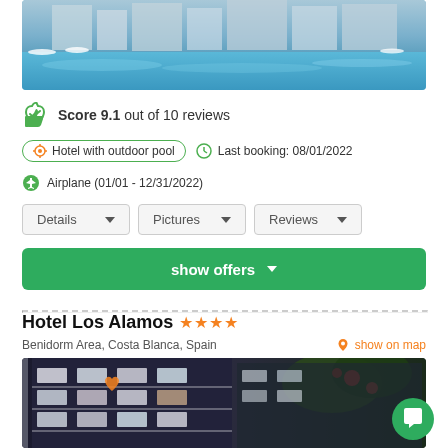[Figure (photo): Hotel pool area photo showing a large outdoor swimming pool with lounge chairs, umbrellas, and a modern hotel building in the background.]
Score 9.1 out of 10 reviews
Hotel with outdoor pool
Last booking: 08/01/2022
Airplane (01/01 - 12/31/2022)
Details
Pictures
Reviews
show offers
Hotel Los Alamos ★★★★
Benidorm Area, Costa Blanca, Spain
show on map
[Figure (photo): Nighttime photo of Hotel Los Alamos building facade with illuminated balconies and flowering bougainvillea plants.]